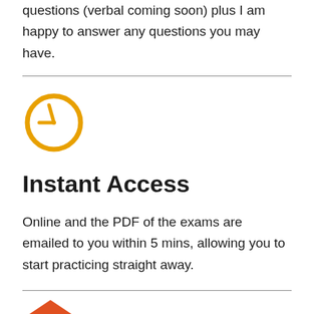questions (verbal coming soon) plus I am happy to answer any questions you may have.
[Figure (illustration): Orange clock icon with clock hands pointing to approximately 9:00]
Instant Access
Online and the PDF of the exams are emailed to you within 5 mins, allowing you to start practicing straight away.
[Figure (illustration): Partial orange icon visible at bottom of page]